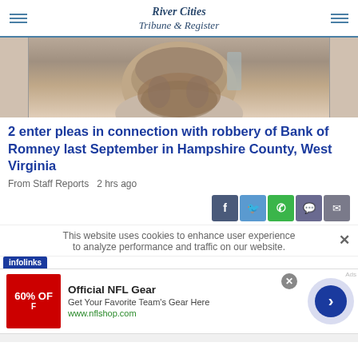River Cities Tribune & Register
[Figure (photo): Close-up photo of a man's chin and neck showing a short beard, against a light background. Only the lower face and chin area is visible.]
2 enter pleas in connection with robbery of Bank of Romney last September in Hampshire County, West Virginia
From Staff Reports  2 hrs ago
[Figure (infographic): Social media share buttons: Facebook (dark blue), Twitter (blue), WhatsApp (green), Message (purple/grey), Email (grey)]
This website uses cookies to enhance user experience to analyze performance and traffic on our website.
[Figure (infographic): Infolinks advertisement banner with NFL Gear ad: '60% OFF - Official NFL Gear - Get Your Favorite Team's Gear Here - www.nflshop.com' with a red ad image and a right-arrow navigation button.]